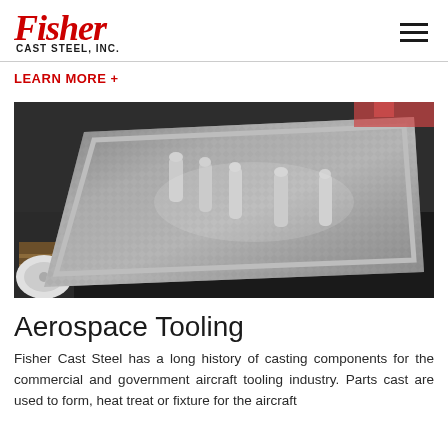Fisher Cast Steel, Inc.
LEARN MORE +
[Figure (photo): Large cast steel aerospace tooling component laid flat on a workshop floor — a long trapezoidal metal plate with a textured diamond-pattern surface, several tall cast features protruding upward along the centerline, and a raised rim border. Industrial workshop background with wood pallets and other parts visible.]
Aerospace Tooling
Fisher Cast Steel has a long history of casting components for the commercial and government aircraft tooling industry. Parts cast are used to form, heat treat or fixture for the aircraft